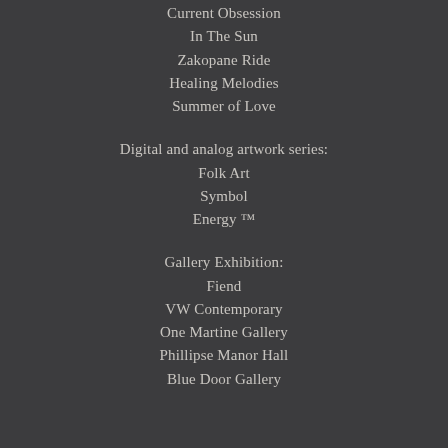Current Obsession
In The Sun
Zakopane Ride
Healing Melodies
Summer of Love
Digital and analog artwork series:
Folk Art
Symbol
Energy ™
Gallery Exhibition:
Fiend
VW Contemporary
One Martine Gallery
Phillipse Manor Hall
Blue Door Gallery